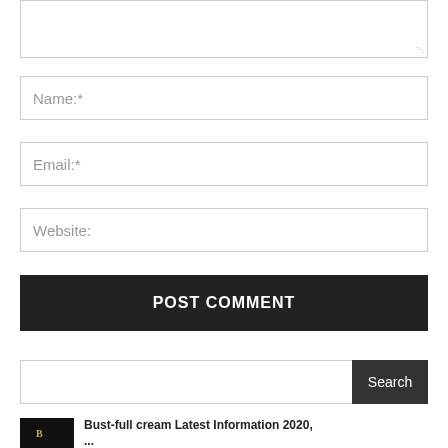[Figure (screenshot): Textarea input box (comment field), partially visible at top]
Name:*
Email:*
Website:
POST COMMENT
Search
Bust-full cream Latest Information 2020, ...